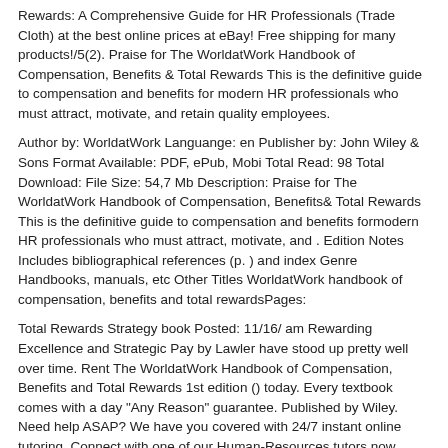Rewards: A Comprehensive Guide for HR Professionals (Trade Cloth) at the best online prices at eBay! Free shipping for many products!/5(2). Praise for The WorldatWork Handbook of Compensation, Benefits & Total Rewards This is the definitive guide to compensation and benefits for modern HR professionals who must attract, motivate, and retain quality employees.
Author by: WorldatWork Languange: en Publisher by: John Wiley & Sons Format Available: PDF, ePub, Mobi Total Read: 98 Total Download: File Size: 54,7 Mb Description: Praise for The WorldatWork Handbook of Compensation, Benefits& Total Rewards This is the definitive guide to compensation and benefits formodern HR professionals who must attract, motivate, and . Edition Notes Includes bibliographical references (p. ) and index Genre Handbooks, manuals, etc Other Titles WorldatWork handbook of compensation, benefits and total rewardsPages:
Total Rewards Strategy book Posted: 11/16/ am Rewarding Excellence and Strategic Pay by Lawler have stood up pretty well over time. Rent The WorldatWork Handbook of Compensation, Benefits and Total Rewards 1st edition () today. Every textbook comes with a day "Any Reason" guarantee. Published by Wiley. Need help ASAP? We have you covered with 24/7 instant online tutoring. Connect with one of our Human-Resources tutors now.
Available for Download
Download PDF